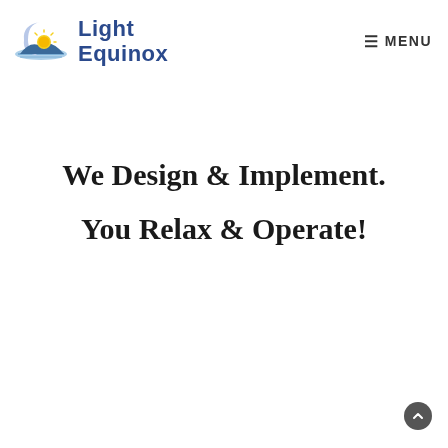[Figure (logo): Light Equinox logo: crescent moon with sun rising over water, stylized landscape in blue and yellow tones, with the text 'Light Equinox' in bold blue beside it]
≡ MENU
We Design & Implement. You Relax & Operate!